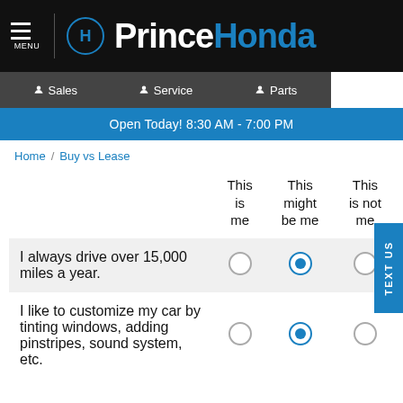Prince Honda
Sales | Service | Parts
Open Today! 8:30 AM - 7:00 PM
Home / Buy vs Lease
|  | This is me | This might be me | This is not me |
| --- | --- | --- | --- |
| I always drive over 15,000 miles a year. | ○ | ● | ○ |
| I like to customize my car by tinting windows, adding pinstripes, sound system, etc | ○ | ● | ○ |